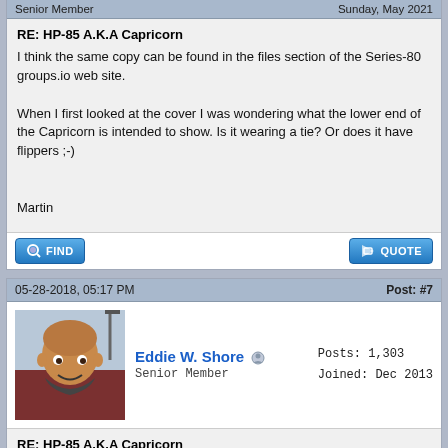Senior Member | Sunday, May 2021
RE: HP-85 A.K.A Capricorn
I think the same copy can be found in the files section of the Series-80 groups.io web site.

When I first looked at the cover I was wondering what the lower end of the Capricorn is intended to show. Is it wearing a tie? Or does it have flippers ;-)

Martin
05-28-2018, 05:17 PM | Post: #7
Eddie W. Shore
Senior Member
Posts: 1,303
Joined: Dec 2013
RE: HP-85 A.K.A Capricorn
Watching a few videos on the HP 85. I like the screen that comes with the unit. I understand it had all the HP calculator functions (at the time - like the 41C or 67?).